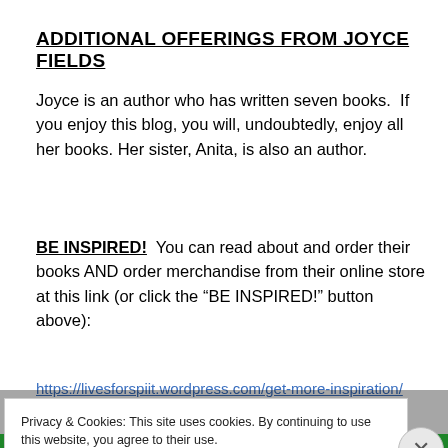ADDITIONAL OFFERINGS FROM JOYCE FIELDS
Joyce is an author who has written seven books.  If you enjoy this blog, you will, undoubtedly, enjoy all her books. Her sister, Anita, is also an author.
BE INSPIRED!  You can read about and order their books AND order merchandise from their online store at this link (or click the “BE INSPIRED!” button above):
https://livesforspiit.wordpress.com/get-more-inspiration/
Privacy & Cookies: This site uses cookies. By continuing to use this website, you agree to their use.
To find out more, including how to control cookies, see here: Cookie Policy
Close and accept